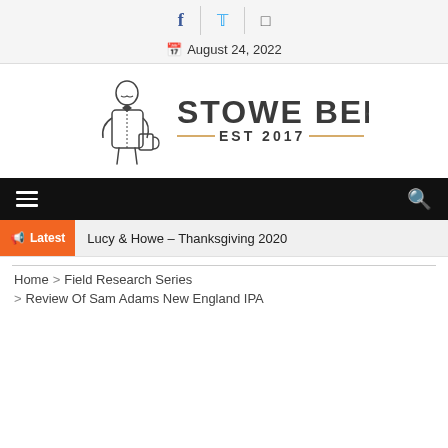Social icons: Facebook, Twitter, Instagram | August 24, 2022
[Figure (logo): Stowe Beer logo with illustrated man holding beer mug, text STOWE BEER EST 2017]
[Figure (screenshot): Black navigation bar with hamburger menu icon and search icon]
Latest  Lucy & Howe – Thanksgiving 2020
Home > Field Research Series > Review Of Sam Adams New England IPA